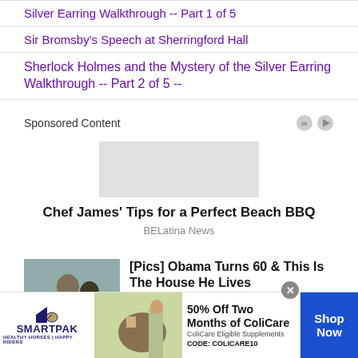Silver Earring Walkthrough -- Part 1 of 5
Sir Bromsby's Speech at Sherringford Hall
Sherlock Holmes and the Mystery of the Silver Earring Walkthrough -- Part 2 of 5 --
Sponsored Content
Chef James' Tips for a Perfect Beach BBQ
BELatina News
[Pics] Obama Turns 60 & This Is The House He Lives
[Figure (photo): Photo of two people outdoors]
[Figure (photo): SmartPak banner advertisement with horse and rider photo. Text: SMARTPAK, HEALTHY HORSES | HAPPY RIDERS, 50% Off Two Months of ColiCare, ColiCare Eligible Supplements, CODE: COLICARE10, Shop Now]